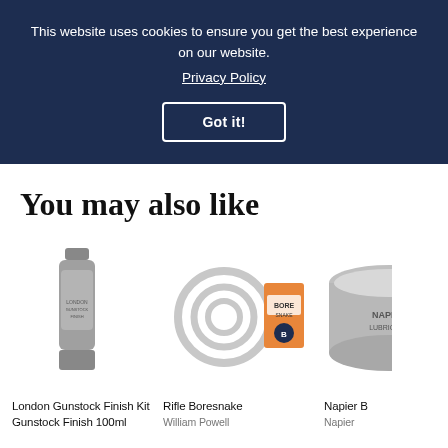This website uses cookies to ensure you get the best experience on our website. Privacy Policy
Got it!
You may also like
[Figure (photo): Product photo of London Gunstock Finish Kit Gunstock Finish 100ml - a small dark bottle]
London Gunstock Finish Kit Gunstock Finish 100ml
[Figure (photo): Product photo of Rifle Boresnake - cleaning cable and orange box]
Rifle Boresnake
William Powell
[Figure (photo): Partial product photo of Napier B - round tin partially visible]
Napier B
Napier